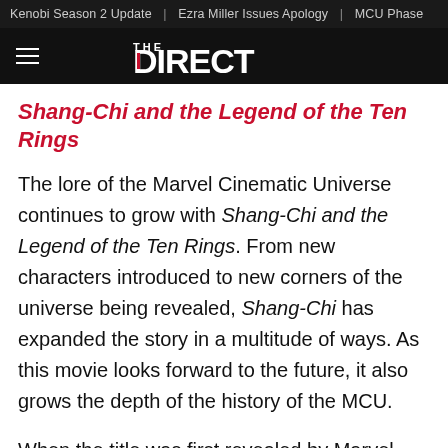Kenobi Season 2 Update | Ezra Miller Issues Apology | MCU Phase
[Figure (logo): The Direct website logo — hamburger menu icon on left, 'THE DIRECT' logo in white on black background]
Shang-Chi and the Legend of the Ten Rings
The lore of the Marvel Cinematic Universe continues to grow with Shang-Chi and the Legend of the Ten Rings. From new characters introduced to new corners of the universe being revealed, Shang-Chi has expanded the story in a multitude of ways. As this movie looks forward to the future, it also grows the depth of the history of the MCU.
When the title was first revealed by Marvel Studios leader Kevin Feige in 2019, audiences